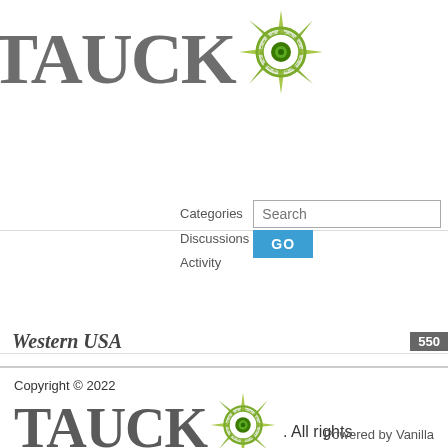[Figure (logo): Tauck logo with compass rose icon, top header]
Categories
Discussions
Activity
Search GO
Western USA 550
Copyright © 2022
[Figure (logo): Tauck logo with compass rose icon, footer]
. All rights reserved.
Powered by Vanilla